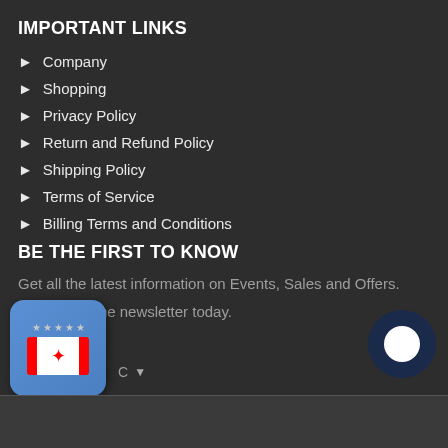IMPORTANT LINKS
Company
Shopping
Privacy Policy
Return and Refund Policy
Shipping Policy
Terms of Service
Billing Terms and Conditions
BE THE FIRST TO KNOW
Get all the latest information on Events, Sales and Offers.
Sign up for the newsletter today.
[Figure (screenshot): Canadian flag app widget and chat bubble overlay at bottom of page]